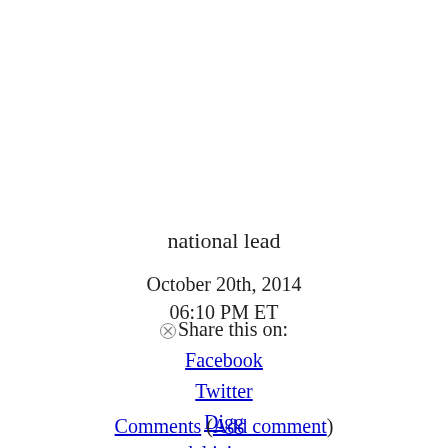national lead
October 20th, 2014
06:10 PM ET
Share this on:
Facebook
Twitter
Digg
del.icio.us
reddit
MySpace
StumbleUpon
Comments (Add comment)